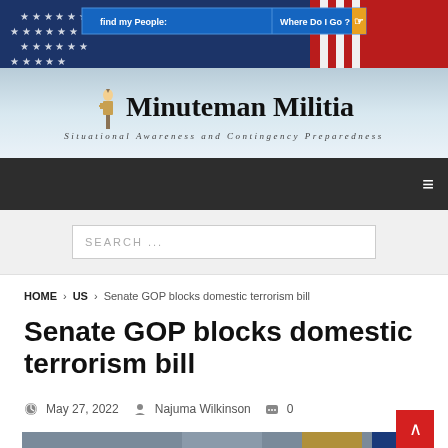[Figure (screenshot): Website banner with American flag background and ad bar showing 'find my People' and 'Where Do I Go?' buttons]
Minuteman Militia — Situational Awareness and Contingency Preparedness
SEARCH ...
HOME > US > Senate GOP blocks domestic terrorism bill
Senate GOP blocks domestic terrorism bill
May 27, 2022  Najuma Wilkinson  0